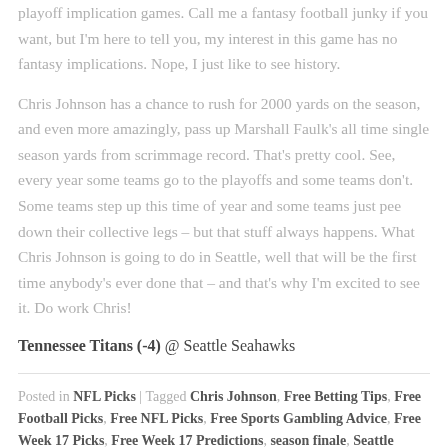playoff implication games. Call me a fantasy football junky if you want, but I'm here to tell you, my interest in this game has no fantasy implications. Nope, I just like to see history.
Chris Johnson has a chance to rush for 2000 yards on the season, and even more amazingly, pass up Marshall Faulk's all time single season yards from scrimmage record. That's pretty cool. See, every year some teams go to the playoffs and some teams don't. Some teams step up this time of year and some teams just pee down their collective legs – but that stuff always happens. What Chris Johnson is going to do in Seattle, well that will be the first time anybody's ever done that – and that's why I'm excited to see it. Do work Chris!
Tennessee Titans (-4) @ Seattle Seahawks
Posted in NFL Picks | Tagged Chris Johnson, Free Betting Tips, Free Football Picks, Free NFL Picks, Free Sports Gambling Advice, Free Week 17 Picks, Free Week 17 Predictions, season finale, Seattle Seahawks, Tennessee